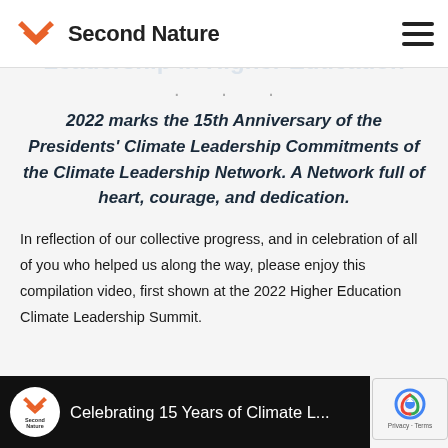Second Nature
· · ·
2022 marks the 15th Anniversary of the Presidents' Climate Leadership Commitments of the Climate Leadership Network. A Network full of heart, courage, and dedication.
In reflection of our collective progress, and in celebration of all of you who helped us along the way, please enjoy this compilation video, first shown at the 2022 Higher Education Climate Leadership Summit.
[Figure (screenshot): Video thumbnail showing Second Nature logo and title 'Celebrating 15 Years of Climate L...' on dark background]